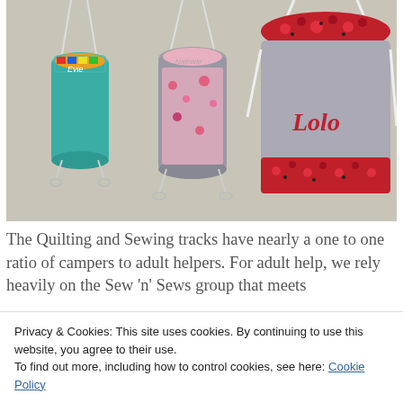[Figure (photo): Three fabric drawstring bags hanging on a wall. Left bag is teal/turquoise with colorful fabric inside. Middle bag is gray with pink floral fabric inside. Right bag is large gray with red floral fabric at bottom and the name 'Lolo' embroidered in red on the front.]
The Quilting and Sewing tracks have nearly a one to one ratio of campers to adult helpers. For adult help, we rely heavily on the Sew 'n' Sews group that meets
Privacy & Cookies: This site uses cookies. By continuing to use this website, you agree to their use.
To find out more, including how to control cookies, see here: Cookie Policy
Close and accept